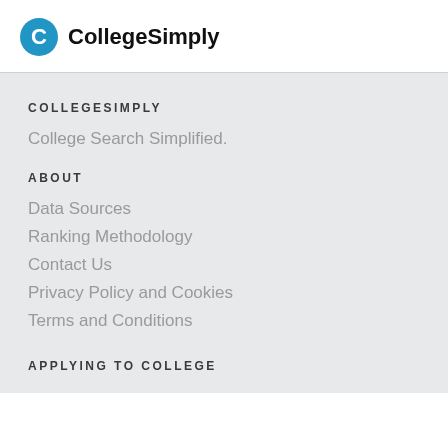CollegeSimply
COLLEGESIMPLY
College Search Simplified.
ABOUT
Data Sources
Ranking Methodology
Contact Us
Privacy Policy and Cookies
Terms and Conditions
APPLYING TO COLLEGE